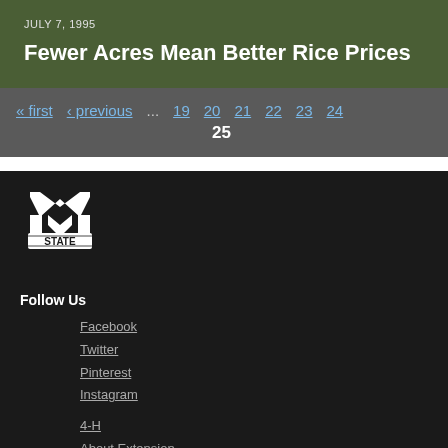JULY 7, 1995
Fewer Acres Mean Better Rice Prices
« first  ‹ previous  ...  19  20  21  22  23  24
25
[Figure (logo): Mississippi State University M-STATE logo in white on black background]
Follow Us
Facebook
Twitter
Pinterest
Instagram
4-H
About Extension
Agriculture
Community